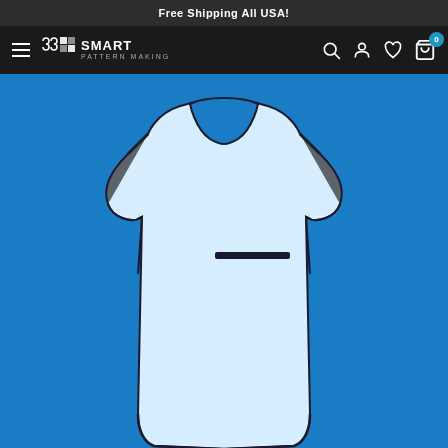Free Shipping All USA!
[Figure (logo): Smart Pattern Making logo with hamburger menu and navigation icons (search, account, wishlist, cart with badge 0)]
[Figure (photo): A light blue sleeveless tabard/apron garment on a blue background, showing front view with rounded neckline, dark trim, and a horizontal chest pocket detail]